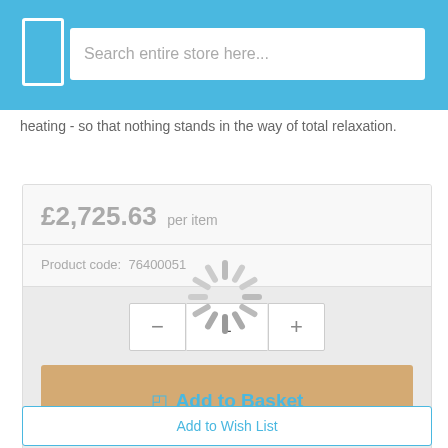Search entire store here...
heating - so that nothing stands in the way of total relaxation.
£2,725.63 per item
Product code: 76400051
[Figure (infographic): Loading spinner (rotating dashes circle) overlaid on product page]
1
Add to Basket
Add to Wish List